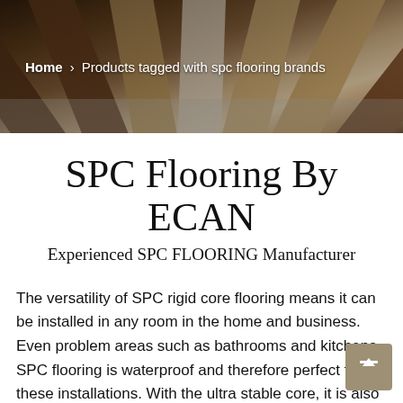[Figure (photo): Hero banner showing fan-arranged SPC flooring planks in various wood tones (dark brown, light tan, white/grey) spread out on a grey surface, viewed from above at an angle.]
Home > Products tagged with spc flooring brands
SPC Flooring By ECAN
Experienced SPC FLOORING Manufacturer
The versatility of SPC rigid core flooring means it can be installed in any room in the home and business. Even problem areas such as bathrooms and kitchens, SPC flooring is waterproof and therefore perfect for these installations. With the ultra stable core, it is also ideal for open plan living spaces, as it can be laid in large areas